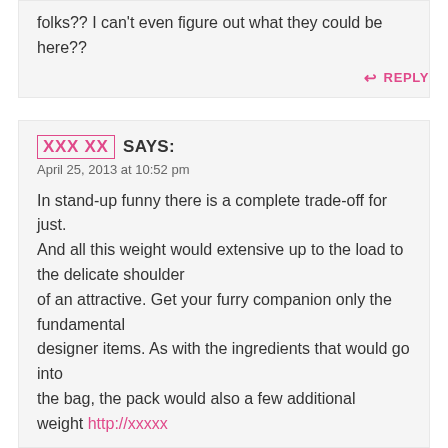folks?? I can't even figure out what they could be here??
REPLY
ХХХ ХХ SAYS:
April 25, 2013 at 10:52 pm
In stand-up funny there is a complete trade-off for just.
And all this weight would extensive up to the load to the delicate shoulder
of an attractive. Get your furry companion only the fundamental
designer items. As with the ingredients that would go into
the bag, the pack would also a few additional
weight http://xxxxx